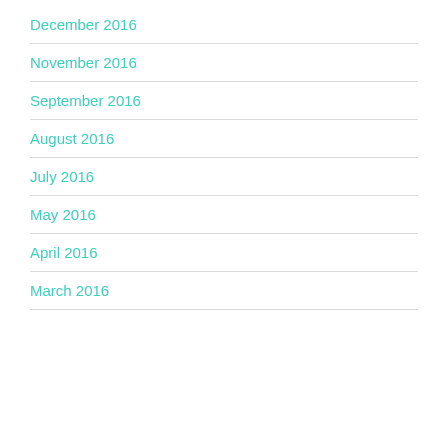December 2016
November 2016
September 2016
August 2016
July 2016
May 2016
April 2016
March 2016